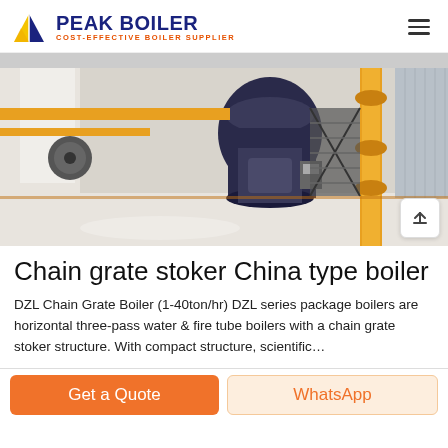PEAK BOILER COST-EFFECTIVE BOILER SUPPLIER
[Figure (photo): Industrial boiler facility interior showing a chain grate stoker boiler with yellow piping, metal staircases, large cylindrical boiler drum in dark color, white structural walls, and industrial equipment.]
Chain grate stoker China type boiler
DZL Chain Grate Boiler (1-40ton/hr) DZL series package boilers are horizontal three-pass water & fire tube boilers with a chain grate stoker structure. With compact structure, scientific…